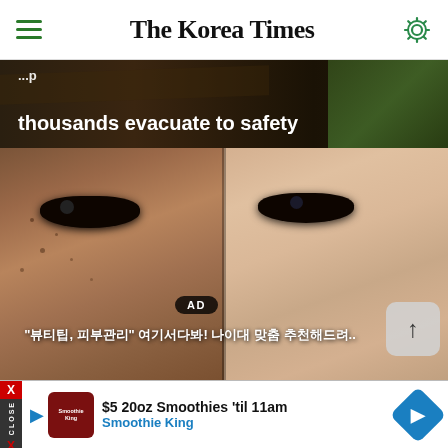The Korea Times
[Figure (photo): News article banner image with dark background showing partial headline text 'thousands evacuate to safety' in white bold text over a dark nature/disaster scene photo]
[Figure (photo): Advertisement showing a side-by-side close-up comparison of two faces/eyes, with 'AD' badge overlay and Korean text subtitle at the bottom, plus a scroll-up arrow button in the lower right]
[Figure (infographic): Bottom advertisement banner for Smoothie King: '$5 20oz Smoothies til 11am' with Smoothie King logo and navigation icon]